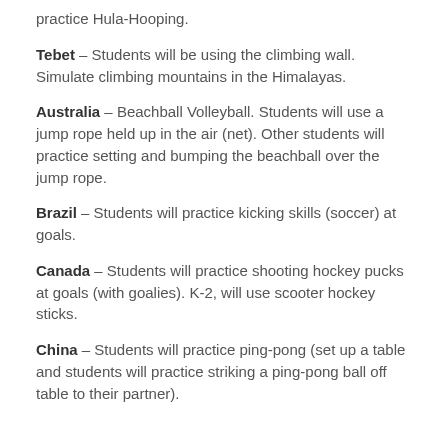practice Hula-Hooping.
Tebet – Students will be using the climbing wall. Simulate climbing mountains in the Himalayas.
Australia – Beachball Volleyball. Students will use a jump rope held up in the air (net). Other students will practice setting and bumping the beachball over the jump rope.
Brazil – Students will practice kicking skills (soccer) at goals.
Canada – Students will practice shooting hockey pucks at goals (with goalies). K-2, will use scooter hockey sticks.
China – Students will practice ping-pong (set up a table and students will practice striking a ping-pong ball off table to their partner).